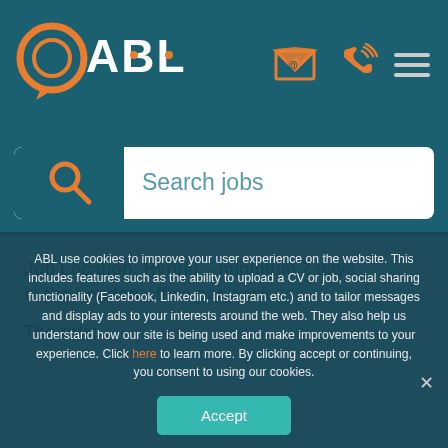[Figure (logo): ABL logo with orange circular speech bubble icon and white ABL text on teal background, plus email icon, phone icon, and hamburger menu]
[Figure (screenshot): Search jobs input bar with magnifying glass icon on dark teal background]
Job Location: Hybrid – minimum 2 days in the London office per week
The role:
ABL use cookies to improve your user experience on the website. This includes features such as the ability to upload a CV or job, social sharing functionality (Facebook, Linkedin, Instagram etc.) and to tailor messages and display ads to your interests around the web. They also help us understand how our site is being used and make improvements to your experience. Click here to learn more. By clicking accept or continuing, you consent to using our cookies.